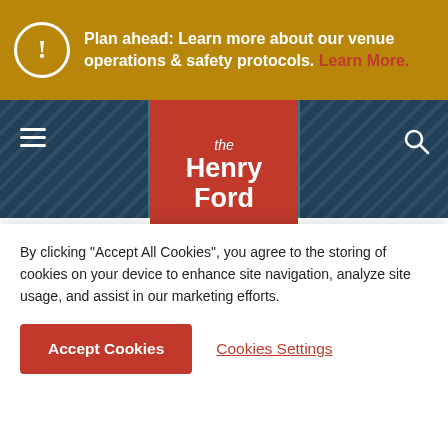Plan ahead: Learn more about our venue operations & safety protocols. Learn More.
[Figure (logo): The Henry Ford museum logo — red square with white text 'the Henry Ford']
Faithful. As it turns out, Old F[...] quite significant in its own right, as it was not only the f[...] of the Western national parks, but it also set the standard for rustic lodgings and manmade structures in other national parks.
What was the story behind this unique place?
[Figure (screenshot): Video thumbnail showing The Henry Ford logo in top-left on a dark/black background with a light-colored document or image visible]
By clicking "Accept All Cookies", you agree to the storing of cookies on your device to enhance site navigation, analyze site usage, and assist in our marketing efforts.